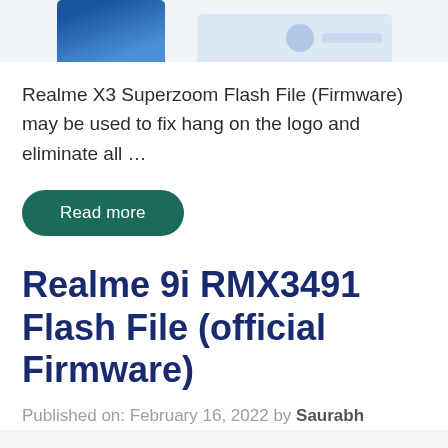[Figure (photo): Partial view of article thumbnail images at top of page — a blue smartphone image on left and a light-colored graphic on right, cropped at top]
Realme X3 Superzoom Flash File (Firmware) may be used to fix hang on the logo and eliminate all ...
Read more
Realme 9i RMX3491 Flash File (official Firmware)
Published on: February 16, 2022 by Saurabh